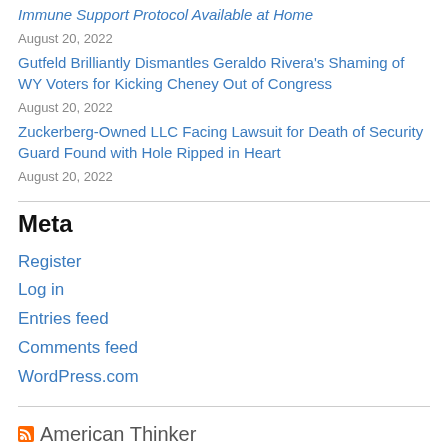Immune Support Protocol Available at Home August 20, 2022
Gutfeld Brilliantly Dismantles Geraldo Rivera's Shaming of WY Voters for Kicking Cheney Out of Congress August 20, 2022
Zuckerberg-Owned LLC Facing Lawsuit for Death of Security Guard Found with Hole Ripped in Heart August 20, 2022
Meta
Register
Log in
Entries feed
Comments feed
WordPress.com
American Thinker
Is the FBI even doing counterintelligence cases anymore?
How Dr. Oz can stage a comeback
Sharyl Attkisson reveals how low the FBI will go